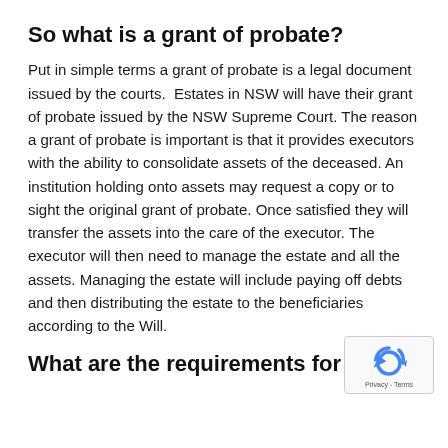So what is a grant of probate?
Put in simple terms a grant of probate is a legal document issued by the courts.  Estates in NSW will have their grant of probate issued by the NSW Supreme Court. The reason a grant of probate is important is that it provides executors with the ability to consolidate assets of the deceased. An institution holding onto assets may request a copy or to sight the original grant of probate. Once satisfied they will transfer the assets into the care of the executor. The executor will then need to manage the estate and all the assets. Managing the estate will include paying off debts and then distributing the estate to the beneficiaries according to the Will.
[Figure (other): reCAPTCHA badge with Privacy - Terms text]
What are the requirements for a